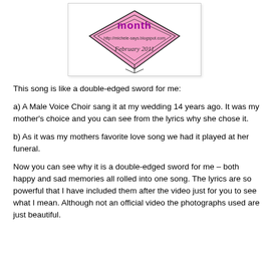[Figure (illustration): A pink heart-shaped badge/logo with text 'month', URL 'http://michele-says.blogspot.com', and 'February 2011', with decorative diamond/geometric border lines]
This song is like a double-edged sword for me:
a) A Male Voice Choir sang it at my wedding 14 years ago. It was my mother's choice and you can see from the lyrics why she chose it.
b) As it was my mothers favorite love song we had it played at her funeral.
Now you can see why it is a double-edged sword for me – both happy and sad memories all rolled into one song. The lyrics are so powerful that I have included them after the video just for you to see what I mean. Although not an official video the photographs used are just beautiful.